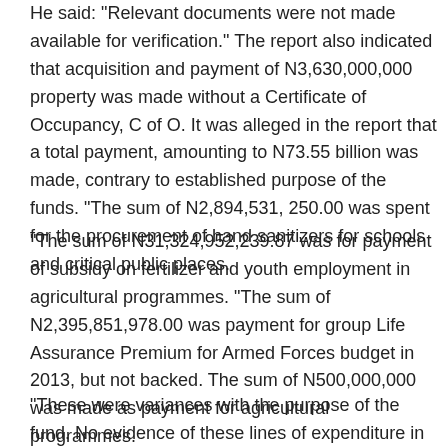He said: "Relevant documents were not made available for verification." The report also indicated that acquisition and payment of N3,630,000,000 property was made without a Certificate of Occupancy, C of O. It was alleged in the report that a total payment, amounting to N73.55 billion was made, contrary to established purpose of the funds. “The sum of N2,894,531, 250.00 was spent for the procurement of hand sanitizers for schools and critical public places.
“The sum of N31,324,952,239.87 was for payment of subsidy on fertilizer and youth employment in agricultural programmes. “The sum of N2,395,851,978.00 was payment for group Life Assurance Premium for Armed Forces budget in 2013, but not backed. The sum of N500,000,000 was made as payment for agricultural programmes.
“These were variances with the purpose of the fund. No evidence of these lines of expenditure in the 2014